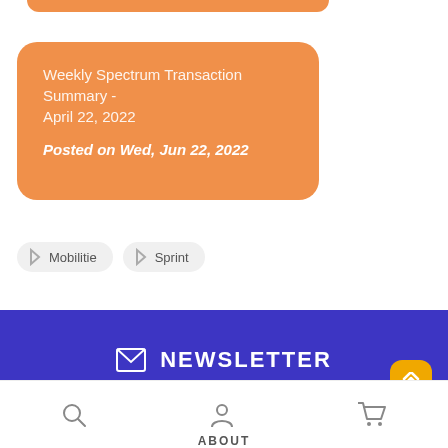Weekly Spectrum Transaction Summary - April 22, 2022
Posted on Wed, Jun 22, 2022
Mobilitie
Sprint
NEWSLETTER
Email...
SUBSCRIBE
ABOUT